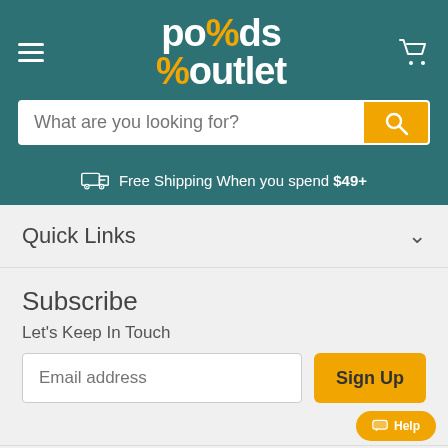pods outlet — navigation header with logo, search bar, and free shipping notice
Free Shipping When you spend $49+
Quick Links
Subscribe
Let's Keep In Touch
Email address
Sign Up
CALIFORNIA PROPOSITION 65